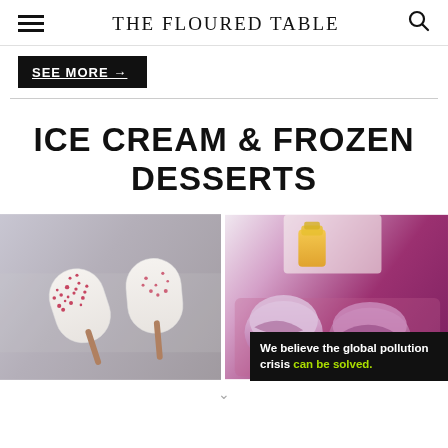THE FLOURED TABLE
SEE MORE →
ICE CREAM & FROZEN DESSERTS
[Figure (photo): Overhead photo of white cream popsicles with red berry sprinkles on parchment with wooden sticks]
[Figure (photo): Overhead photo of purple/pink berry ice cream scoops in a metal tray with a honey jar]
We believe the global pollution crisis can be solved.